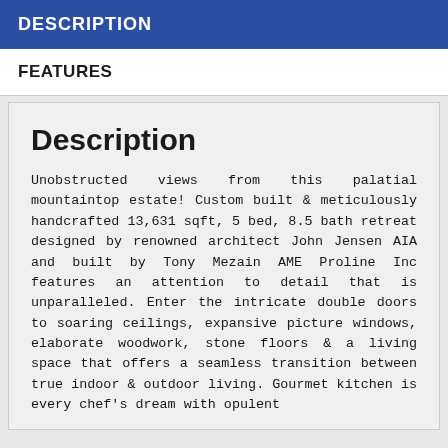DESCRIPTION
FEATURES
Description
Unobstructed views from this palatial mountaintop estate! Custom built & meticulously handcrafted 13,631 sqft, 5 bed, 8.5 bath retreat designed by renowned architect John Jensen AIA and built by Tony Mezain AME Proline Inc features an attention to detail that is unparalleled. Enter the intricate double doors to soaring ceilings, expansive picture windows, elaborate woodwork, stone floors & a living space that offers a seamless transition between true indoor & outdoor living. Gourmet kitchen is every chef's dream with opulent